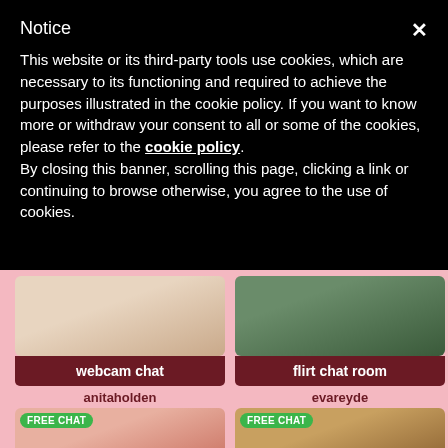Notice
This website or its third-party tools use cookies, which are necessary to its functioning and required to achieve the purposes illustrated in the cookie policy. If you want to know more or withdraw your consent to all or some of the cookies, please refer to the cookie policy.
By closing this banner, scrolling this page, clicking a link or continuing to browse otherwise, you agree to the use of cookies.
[Figure (photo): Two thumbnail images side by side: left shows a person on a light-colored surface, right shows a person outdoors with greenery]
webcam chat
flirt chat room
anitaholden
evareyde
[Figure (photo): FREE CHAT badge over image of anitaholden]
[Figure (photo): FREE CHAT badge over image of evareyde]